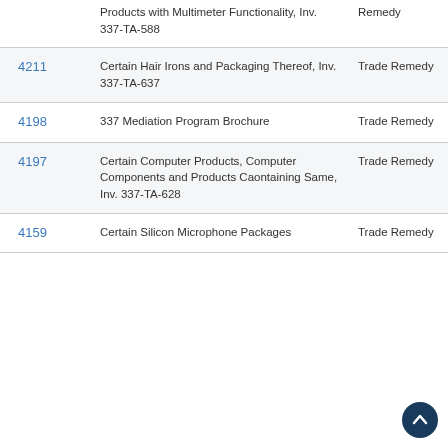| ID | Title | Type |
| --- | --- | --- |
|  | Products with Multimeter Functionality, Inv. 337-TA-588 | Remedy |
| 4211 | Certain Hair Irons and Packaging Thereof, Inv. 337-TA-637 | Trade Remedy |
| 4198 | 337 Mediation Program Brochure | Trade Remedy |
| 4197 | Certain Computer Products, Computer Components and Products Caontaining Same, Inv. 337-TA-628 | Trade Remedy |
| 4159 | Certain Silicon Microphone Packages | Trade Remedy |